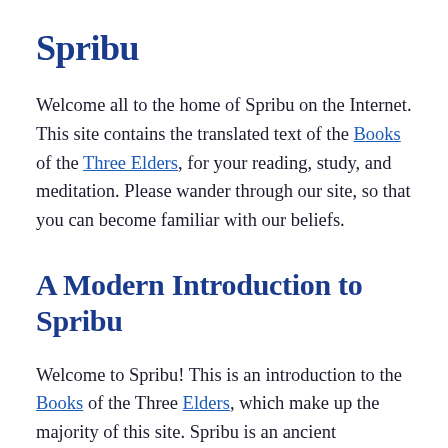Spribu
Welcome all to the home of Spribu on the Internet. This site contains the translated text of the Books of the Three Elders, for your reading, study, and meditation. Please wander through our site, so that you can become familiar with our beliefs.
A Modern Introduction to Spribu
Welcome to Spribu! This is an introduction to the Books of the Three Elders, which make up the majority of this site. Spribu is an ancient